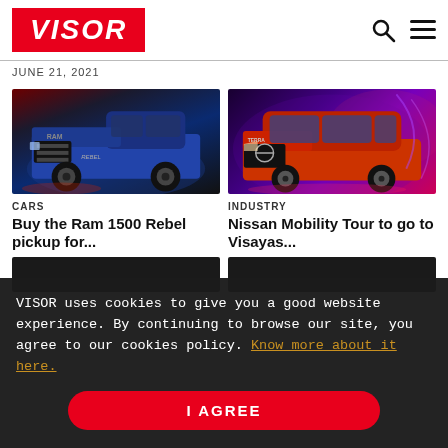VISOR
JUNE 21, 2021
[Figure (photo): Blue RAM 1500 Rebel pickup truck parked indoors against dark background with red lighting]
[Figure (photo): Red Nissan Terra SUV against a purple and blue swirling abstract background]
CARS
INDUSTRY
Buy the Ram 1500 Rebel pickup for...
Nissan Mobility Tour to go to Visayas...
VISOR uses cookies to give you a good website experience. By continuing to browse our site, you agree to our cookies policy. Know more about it here.
I AGREE